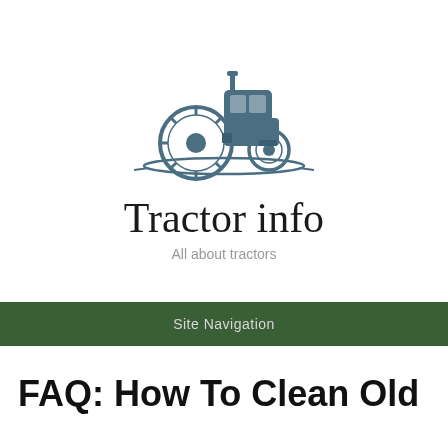[Figure (logo): Tractor info website logo: stylized illustration of a large agricultural tractor in dark blue-gray color, viewed from front-left angle, with sweep lines beneath indicating ground]
Tractor info
All about tractors
Site Navigation
FAQ: How To Clean Old